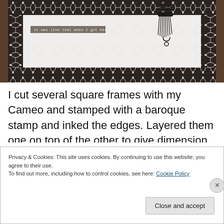[Figure (photo): A crafted shadow box or card featuring a black and white baroque damask patterned frame border surrounding an embossed white inner area with a shattered glass texture. A small strip label reads 'it was like that when I got here'. A black chain/tassel decoration hangs from the top. The piece sits on a wooden surface.]
I cut several square frames with my Cameo and stamped with a baroque stamp and inked the edges. Layered them one on top of the other to give dimension. I used a Sizzix embossing folder with shattered glass effect and ran a
Privacy & Cookies: This site uses cookies. By continuing to use this website, you agree to their use.
To find out more, including how to control cookies, see here: Cookie Policy
Close and accept